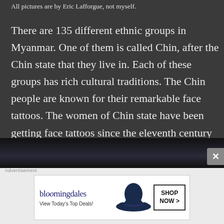All pictures are by Eric Lafforgue, not myself.
There are 135 different ethnic groups in Myanmar. One of them is called Chin, after the Chin state that they live in. Each of these groups has rich cultural traditions. The Chin people are known for their remarkable face tattoos. The women of Chin state have been getting face tattoos since the eleventh century according to legend.
[Figure (photo): Partial view of a photo showing dark hair, bottom of page]
Advertisement
[Figure (screenshot): Bloomingdales advertisement banner: 'View Today's Top Deals!' with SHOP NOW > button and woman in wide-brim hat]